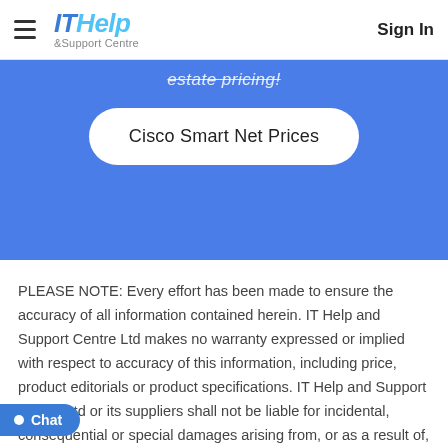ITHelp &Support Centre | Sign In
estate pricing!
Cisco Smart Net Prices
PLEASE NOTE: Every effort has been made to ensure the accuracy of all information contained herein. IT Help and Support Centre Ltd makes no warranty expressed or implied with respect to accuracy of this information, including price, product editorials or product specifications. IT Help and Support Centre Ltd or its suppliers shall not be liable for incidental, consequential or special damages arising from, or as a result of, any electronic transmission or the accuracy of the information contained herin, even if IT Help and Support Ltd has been advised of the possibility of such damages. Product and manufacturer names are used only